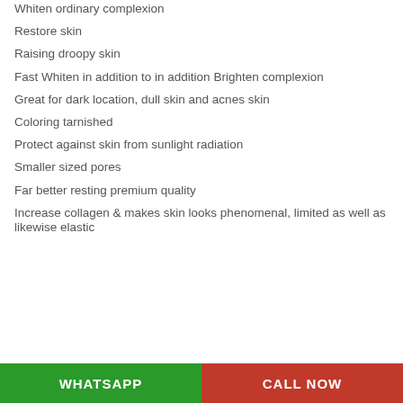Whiten ordinary complexion
Restore skin
Raising droopy skin
Fast Whiten in addition to in addition Brighten complexion
Great for dark location, dull skin and acnes skin
Coloring tarnished
Protect against skin from sunlight radiation
Smaller sized pores
Far better resting premium quality
Increase collagen & makes skin looks phenomenal, limited as well as likewise elastic
WHATSAPP   CALL NOW